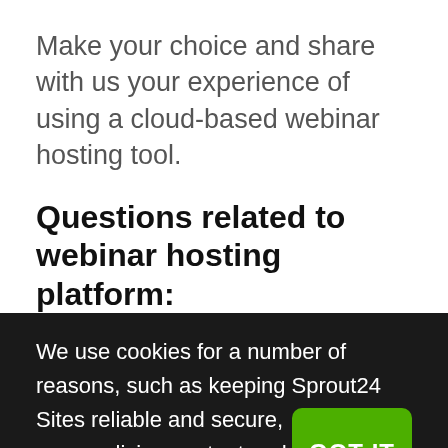Make your choice and share with us your experience of using a cloud-based webinar hosting tool.
Questions related to webinar hosting platform:
We use cookies for a number of reasons, such as keeping Sprout24 Sites reliable and secure, personalizing content and ads, providing social media features and to analyze how our Sites are used. Learn More